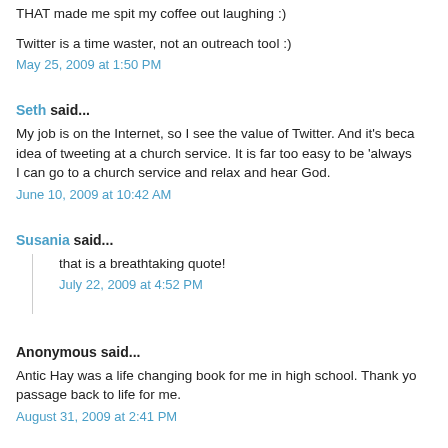THAT made me spit my coffee out laughing :)
Twitter is a time waster, not an outreach tool :)
May 25, 2009 at 1:50 PM
Seth said...
My job is on the Internet, so I see the value of Twitter. And it's because I can go to a church service and relax and hear God.
June 10, 2009 at 10:42 AM
Susania said...
that is a breathtaking quote!
July 22, 2009 at 4:52 PM
Anonymous said...
Antic Hay was a life changing book for me in high school. Thank you for bringing this passage back to life for me.
August 31, 2009 at 2:41 PM